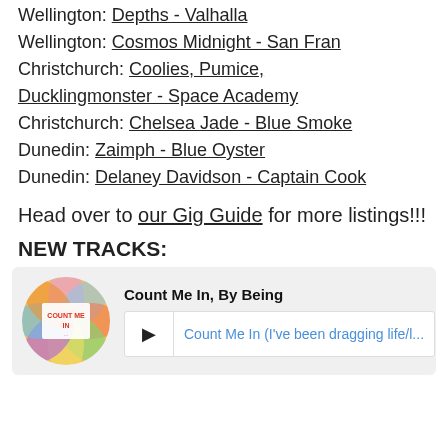Wellington: Depths - Valhalla
Wellington: Cosmos Midnight - San Fran
Christchurch: Coolies, Pumice, Ducklingmonster - Space Academy
Christchurch: Chelsea Jade - Blue Smoke
Dunedin: Zaimph - Blue Oyster
Dunedin: Delaney Davidson - Captain Cook
Head over to our Gig Guide for more listings!!!
NEW TRACKS:
[Figure (other): Music player card for 'Count Me In, By Being' with circular album artwork and audio player showing track 'Count Me In (I've been dragging life/l...']